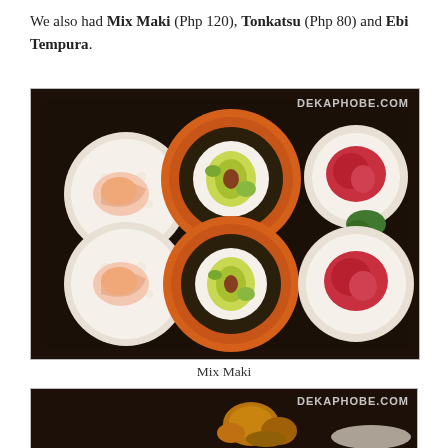We also had Mix Maki (Php 120), Tonkatsu (Php 80) and Ebi Tempura.
[Figure (photo): Six pieces of sushi/maki rolls arranged on a black rectangular plate: two crab stick maki rolls on the left, two avocado/mango rolls with orange tobiko in the center, and two tuna sashimi/nigiri pieces on the right, with a green wasabi garnish. Watermark reads DEKAPHOBE.COM.]
Mix Maki
[Figure (photo): Partial view of another dish on a black plate, appearing to show fried tempura pieces. Watermark reads DEKAPHOBE.COM.]